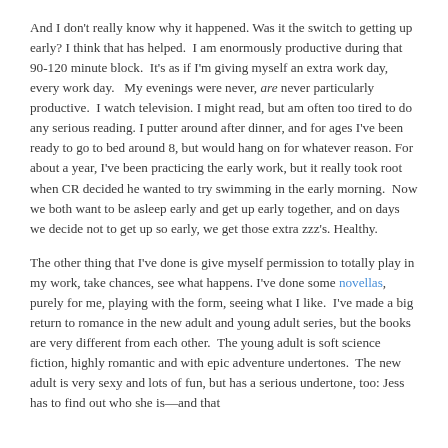And I don't really know why it happened. Was it the switch to getting up early? I think that has helped.  I am enormously productive during that 90-120 minute block.  It's as if I'm giving myself an extra work day, every work day.   My evenings were never, are never particularly productive.  I watch television. I might read, but am often too tired to do any serious reading. I putter around after dinner, and for ages I've been ready to go to bed around 8, but would hang on for whatever reason. For about a year, I've been practicing the early work, but it really took root when CR decided he wanted to try swimming in the early morning.  Now we both want to be asleep early and get up early together, and on days we decide not to get up so early, we get those extra zzz's. Healthy.
The other thing that I've done is give myself permission to totally play in my work, take chances, see what happens. I've done some novellas, purely for me, playing with the form, seeing what I like.  I've made a big return to romance in the new adult and young adult series, but the books are very different from each other.  The young adult is soft science fiction, highly romantic and with epic adventure undertones.  The new adult is very sexy and lots of fun, but has a serious undertone, too: Jess has to find out who she is—and that